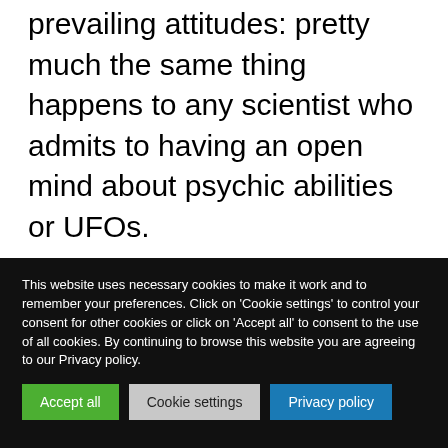prevailing attitudes: pretty much the same thing happens to any scientist who admits to having an open mind about psychic abilities or UFOs.

I think a good deal of this so-called skepticism is just
This website uses necessary cookies to make it work and to remember your preferences. Click on 'Cookie settings' to control your consent for other cookies or click on 'Accept all' to consent to the use of all cookies. By continuing to browse this website you are agreeing to our Privacy policy.
Accept all
Cookie settings
Privacy policy